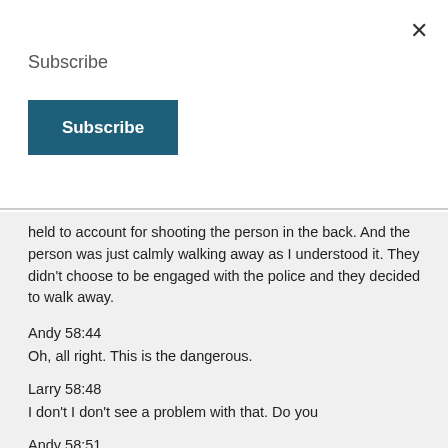Subscribe
Subscribe
held to account for shooting the person in the back. And the person was just calmly walking away as I understood it. They didn't choose to be engaged with the police and they decided to walk away.
Andy 58:44
Oh, all right. This is the dangerous.
Larry 58:48
I don't I don't see a problem with that. Do you
Andy 58:51
know not a problem with that at all? I think you should always a discharge your weapon into